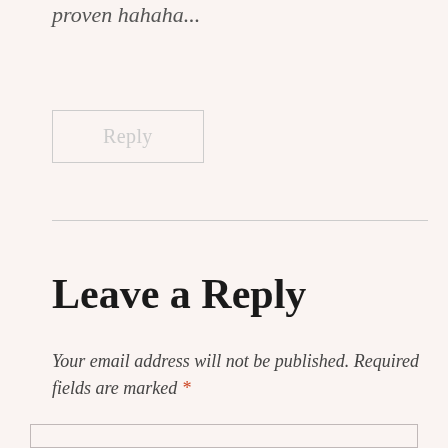proven hahaha...
Reply
Leave a Reply
Your email address will not be published. Required fields are marked *